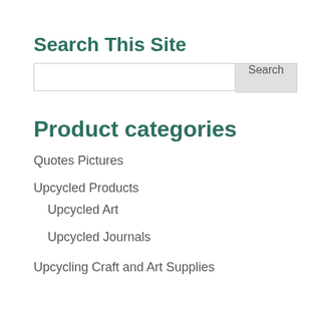Search This Site
[Figure (other): Search input box with Search button]
Product categories
Quotes Pictures
Upcycled Products
Upcycled Art
Upcycled Journals
Upcycling Craft and Art Supplies